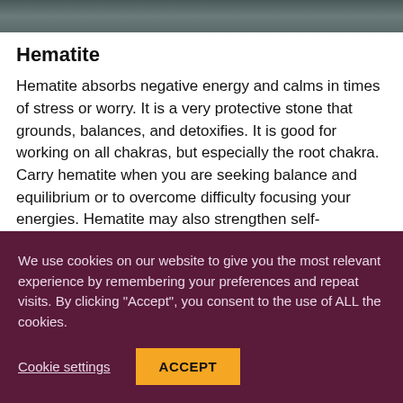[Figure (photo): Dark greenish-grey textured background image strip at the top of the page]
Hematite
Hematite absorbs negative energy and calms in times of stress or worry. It is a very protective stone that grounds, balances, and detoxifies. It is good for working on all chakras, but especially the root chakra. Carry hematite when you are seeking balance and equilibrium or to overcome difficulty focusing your energies. Hematite may also strengthen self-confidence and enhance meditation
We use cookies on our website to give you the most relevant experience by remembering your preferences and repeat visits. By clicking “Accept”, you consent to the use of ALL the cookies.
Cookie settings   ACCEPT